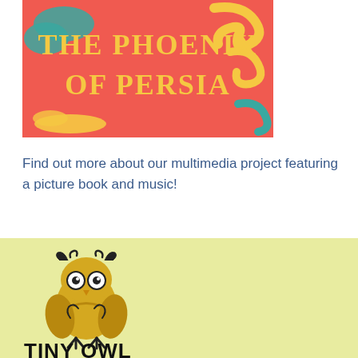[Figure (illustration): Book cover for 'The Phoenix of Persia' with red/coral background, yellow text, teal and yellow decorative brush strokes]
Find out more about our multimedia project featuring a picture book and music!
[Figure (logo): Tiny Owl publisher logo: cartoon yellow owl illustration with black outlines and curly decorative elements, with 'TINY OWL' text beneath in bold black letters, on a light yellow-green background]